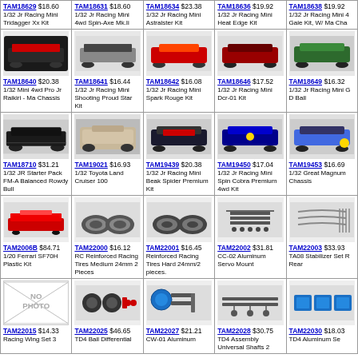| TAM18629 $18.60
1/32 Jr Racing Mini Tridagger Xx Kit | TAM18631 $18.60
1/32 Jr Racing Mini 4wd Spin-Axe Mk.Ii | TAM18634 $23.38
1/32 Jr Racing Mini Astralster Kit | TAM18636 $19.92
1/32 Jr Racing Mini Heat Edge Kit | TAM18638 $19.92
1/32 Jr Racing Mini 4 Gale Kit, W/ Ma Cha |
| TAM18640 $20.38
1/32 Mini 4wd Pro Jr Raikiri - Ma Chassis | TAM18641 $16.44
1/32 Jr Racing Mini Shooting Proud Star Kit | TAM18642 $16.08
1/32 Jr Racing Mini Spark Rouge Kit | TAM18646 $17.52
1/32 Jr Racing Mini Dcr-01 Kit | TAM18649 $16.32
1/32 Jr Racing Mini G D Ball |
| TAM18710 $31.21
1/32 JR Starter Pack FM-A Balanced Rowdy Bull | TAM19021 $16.93
1/32 Toyota Land Cruiser 100 | TAM19439 $20.38
1/32 Jr Racing Mini Beak Spider Premium Kit | TAM19450 $17.04
1/32 Jr Racing Mini Spin Cobra Premium 4wd Kit | TAM19453 $16.69
1/32 Great Magnum Chassis |
| TAM2006B $84.71
1/20 Ferrari SF70H Plastic Kit | TAM22000 $16.12
RC Reinforced Racing Tires Medium 24mm 2 Pieces | TAM22001 $16.45
Reinforced Racing Tires Hard 24mm/2 pieces. | TAM22002 $31.81
CC-02 Aluminum Servo Mount | TAM22003 $33.93
TA08 Stabilizer Set R Rear |
| TAM22015 $14.33
Racing Wing Set 3 | TAM22025 $46.65
TD4 Ball Differential | TAM22027 $21.21
CW-01 Aluminum | TAM22028 $30.75
TD4 Assembly Universal Shafts 2 | TAM22030 $18.03
TD4 Aluminum Se |